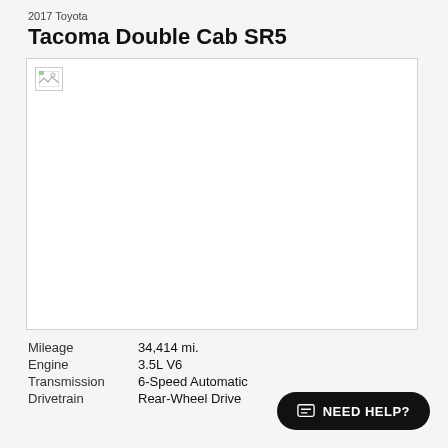2017 Toyota
Tacoma Double Cab SR5
[Figure (photo): Vehicle photo placeholder — broken image icon, white background with border]
Mileage    34,414 mi.
Engine    3.5L V6
Transmission    6-Speed Automatic
Drivetrain    Rear-Wheel Drive